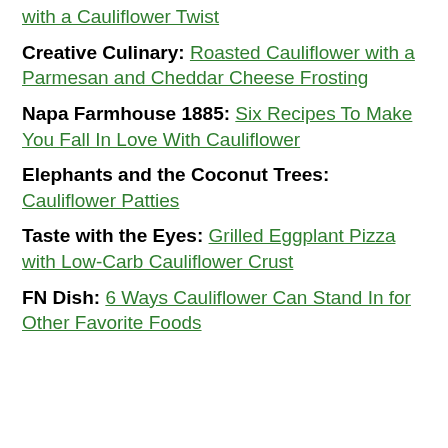with a Cauliflower Twist
Creative Culinary: Roasted Cauliflower with a Parmesan and Cheddar Cheese Frosting
Napa Farmhouse 1885: Six Recipes To Make You Fall In Love With Cauliflower
Elephants and the Coconut Trees: Cauliflower Patties
Taste with the Eyes: Grilled Eggplant Pizza with Low-Carb Cauliflower Crust
FN Dish: 6 Ways Cauliflower Can Stand In for Other Favorite Foods